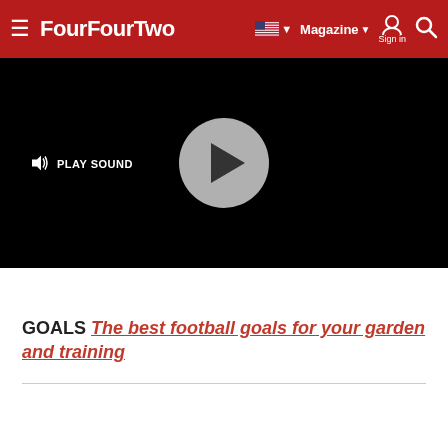FourFourTwo — Magazine | Sign in | Search
[Figure (screenshot): Black video player with a gray circular play button in the center and a 'PLAY SOUND' button with speaker icon in the upper left]
GOALS The best football goals for your garden and training